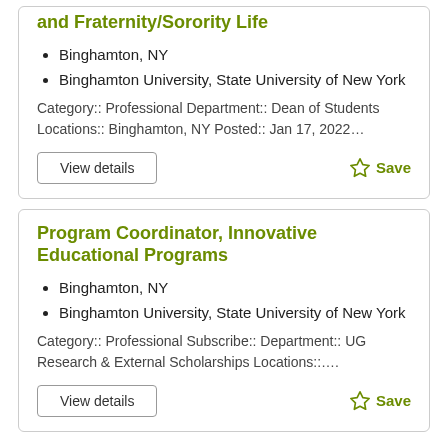and Fraternity/Sorority Life
Binghamton, NY
Binghamton University, State University of New York
Category:: Professional Department:: Dean of Students Locations:: Binghamton, NY Posted:: Jan 17, 2022…
View details
Save
Program Coordinator, Innovative Educational Programs
Binghamton, NY
Binghamton University, State University of New York
Category:: Professional Subscribe:: Department:: UG Research & External Scholarships Locations::….
View details
Save